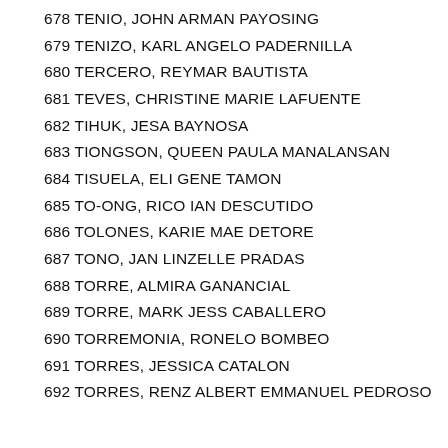678 TENIO, JOHN ARMAN PAYOSING
679 TENIZO, KARL ANGELO PADERNILLA
680 TERCERO, REYMAR BAUTISTA
681 TEVES, CHRISTINE MARIE LAFUENTE
682 TIHUK, JESA BAYNOSA
683 TIONGSON, QUEEN PAULA MANALANSAN
684 TISUELA, ELI GENE TAMON
685 TO-ONG, RICO IAN DESCUTIDO
686 TOLONES, KARIE MAE DETORE
687 TONO, JAN LINZELLE PRADAS
688 TORRE, ALMIRA GANANCIAL
689 TORRE, MARK JESS CABALLERO
690 TORREMONIA, RONELO BOMBEO
691 TORRES, JESSICA CATALON
692 TORRES, RENZ ALBERT EMMANUEL PEDROSO